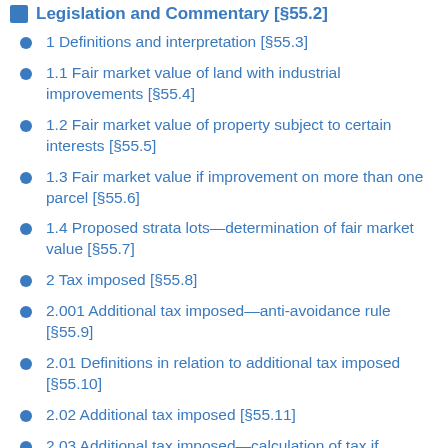Legislation and Commentary [§55.2]
1 Definitions and interpretation [§55.3]
1.1 Fair market value of land with industrial improvements [§55.4]
1.2 Fair market value of property subject to certain interests [§55.5]
1.3 Fair market value if improvement on more than one parcel [§55.6]
1.4 Proposed strata lots—determination of fair market value [§55.7]
2 Tax imposed [§55.8]
2.001 Additional tax imposed—anti-avoidance rule [§55.9]
2.01 Definitions in relation to additional tax imposed [§55.10]
2.02 Additional tax imposed [§55.11]
2.03 Additional tax imposed—calculation of tax if transaction includes non-